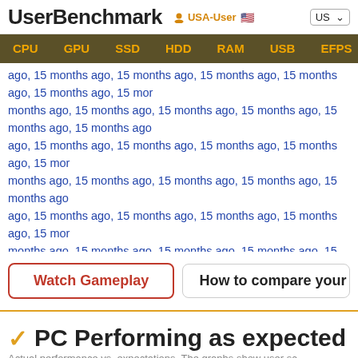UserBenchmark  USA-User  US
CPU  GPU  SSD  HDD  RAM  USB  EFPS  FPS  Sk
months ago, 15 months ago, 15 months ago, 15 months ago, 15 months ago, 15 months ago, 15 months ago, 15 months ago, 15 months ago, 15 months ago, 15 months ago, 15 months ago, 15 months ago, 15 months ago, 15 months ago, 15 months ago, 15 months ago, 15 months ago, 15 months ago, 15 months ago, 15 months ago, 15 months ago, 15 months ago, 15 months ago, 15 months ago, 15 months ago, 15 months ago, 15 months ago, 15 months ago, 15 months ago, 15 months ago, 15 months ago, 15 months ago, 15 months ago, 15 months ago, 15 months ago, 15 months ago, 15 months ago, 15 months ago, 15 months ago, 15 months ago, 15 months ago, 15 months ago, 15 months ago. (Only the first r
Watch Gameplay
How to compare your game
PC Performing as expected (52n
Actual performance vs. expectations. The graphs show user sc